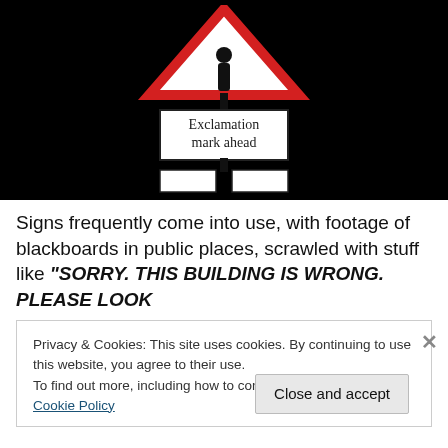[Figure (photo): Photo of a road sign on black background. A triangular red warning sign at top, below it a rectangular sign reading 'Exclamation mark ahead', and two white rectangular panels below.]
Signs frequently come into use, with footage of blackboards in public places, scrawled with stuff like “SORRY. THIS BUILDING IS WRONG. PLEASE LOOK
Privacy & Cookies: This site uses cookies. By continuing to use this website, you agree to their use.
To find out more, including how to control cookies, see here: Cookie Policy
Close and accept